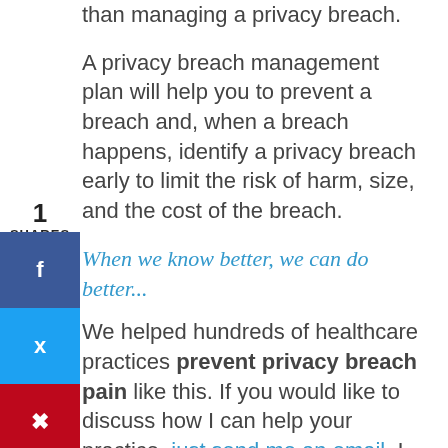than managing a privacy breach.
A privacy breach management plan will help you to prevent a breach and, when a breach happens, identify a privacy breach early to limit the risk of harm, size, and the cost of the breach.
1 SHARES
When we know better, we can do better...
We helped hundreds of healthcare practices prevent privacy breach pain like this. If you would like to discuss how I can help your practice, just send me an email. I am here to help you protect your practice.
PRIVACY BREACH NUGGETS are provided to help you add a ‘nugget’ to your privacy education program. Share these with your staff and patients as a newsletter, poster, or staff meeting.